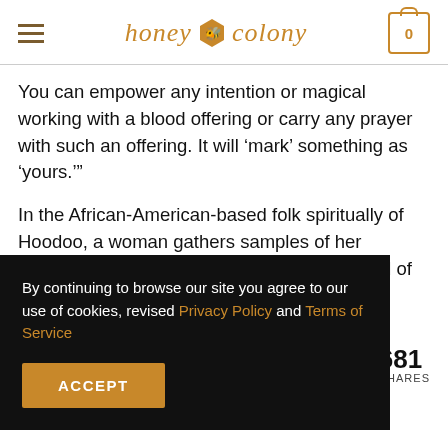honey colony
You can empower any intention or magical working with a blood offering or carry any prayer with such an offering. It will ‘mark’ something as ‘yours.’”
In the African-American-based folk spiritually of Hoodoo, a woman gathers samples of her monthly menses blood and adds it to the food of the man she wants to marry, [man will be] [r in love] [an and]
By continuing to browse our site you agree to our use of cookies, revised Privacy Policy and Terms of Service
ACCEPT
681 SHARES